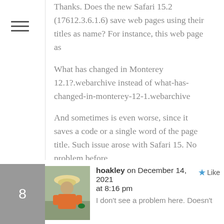Thanks. Does the new Safari 15.2 (17612.3.6.1.6) save web pages using their titles as name? For instance, this web page as
What has changed in Monterey 12.1?.webarchive instead of what-has-changed-in-monterey-12-1.webarchive
And sometimes is even worse, since it saves a code or a single word of the page title. Such issue arose with Safari 15. No problem before.
hoakley on December 14, 2021 at 8:16 pm
I don't see a problem here. Doesn't